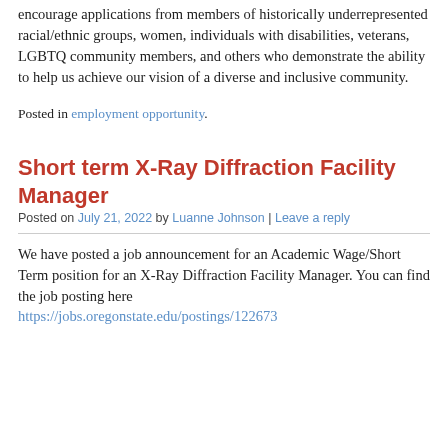encourage applications from members of historically underrepresented racial/ethnic groups, women, individuals with disabilities, veterans, LGBTQ community members, and others who demonstrate the ability to help us achieve our vision of a diverse and inclusive community.
Posted in employment opportunity.
Short term X-Ray Diffraction Facility Manager
Posted on July 21, 2022 by Luanne Johnson | Leave a reply
We have posted a job announcement for an Academic Wage/Short Term position for an X-Ray Diffraction Facility Manager. You can find the job posting here
https://jobs.oregonstate.edu/postings/122673